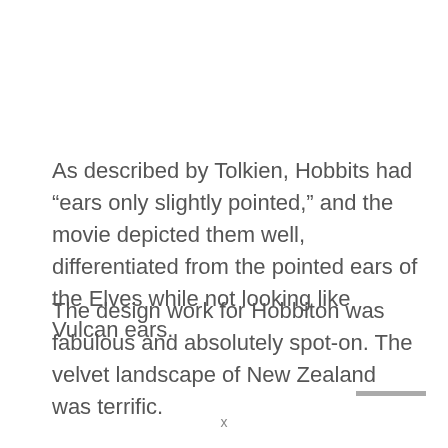As described by Tolkien, Hobbits had “ears only slightly pointed,” and the movie depicted them well, differentiated from the pointed ears of the Elves while not looking like Vulcan ears.
The design work for Hobbiton was fabulous and absolutely spot-on. The velvet landscape of New Zealand was terrific.